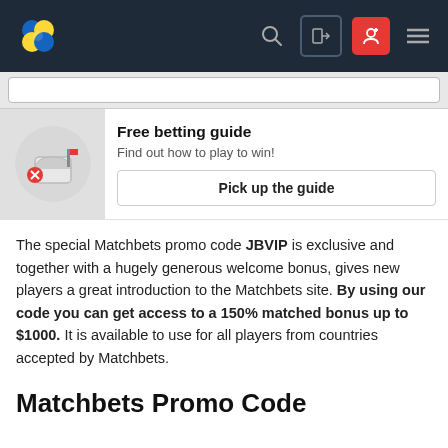Matchbets navigation bar with logo, search, login, register, and menu icons
[Figure (screenshot): Search input bar]
[Figure (illustration): Mailbox/betting guide illustration with red cross icon]
Free betting guide
Find out how to play to win!
Pick up the guide
The special Matchbets promo code JBVIP is exclusive and together with a hugely generous welcome bonus, gives new players a great introduction to the Matchbets site. By using our code you can get access to a 150% matched bonus up to $1000. It is available to use for all players from countries accepted by Matchbets.
Matchbets Promo Code